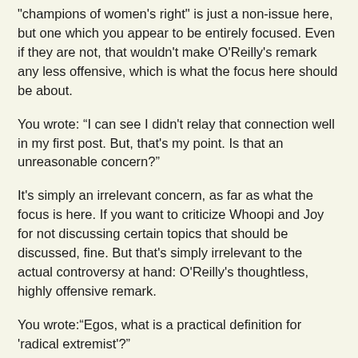'champions of women's right' is just a non-issue here, but one which you appear to be entirely focused. Even if they are not, that wouldn't make O'Reilly's remark any less offensive, which is what the focus here should be about.
You wrote: “I can see I didn't relay that connection well in my first post. But, that's my point. Is that an unreasonable concern?”
It's simply an irrelevant concern, as far as what the focus is here. If you want to criticize Whoopi and Joy for not discussing certain topics that should be discussed, fine. But that's simply irrelevant to the actual controversy at hand: O'Reilly's thoughtless, highly offensive remark.
You wrote:“Egos, what is a practical definition for 'radical extremist'?”
The term seems pretty clear to me. What need is there for a practical definition?
October 21, 2010 at 3:58 PM